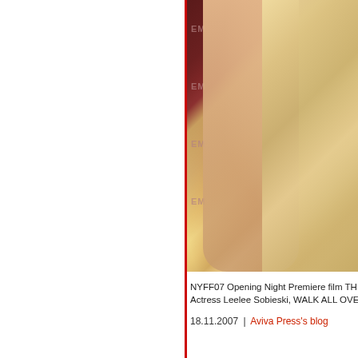[Figure (photo): Cropped photo of actress Leelee Sobieski in a gold/champagne satin dress at the NYFF07 Opening Night Premiere, with a dark red/maroon background with partial text visible]
NYFF07 Opening Night Premiere film TH... Actress Leelee Sobieski, WALK ALL OVE...
18.11.2007 | Aviva Press's blog